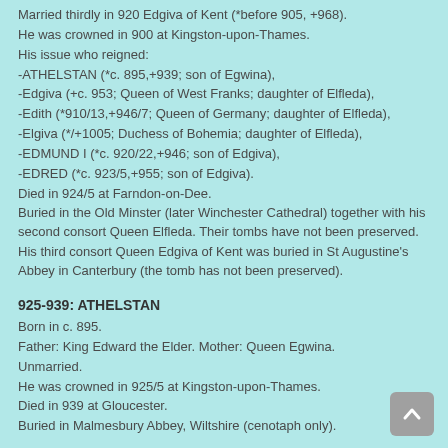Married thirdly in 920 Edgiva of Kent (*before 905, +968).
He was crowned in 900 at Kingston-upon-Thames.
His issue who reigned:
-ATHELSTAN (*c. 895,+939; son of Egwina),
-Edgiva (+c. 953; Queen of West Franks; daughter of Elfleda),
-Edith (*910/13,+946/7; Queen of Germany; daughter of Elfleda),
-Elgiva (*/+1005; Duchess of Bohemia; daughter of Elfleda),
-EDMUND I (*c. 920/22,+946; son of Edgiva),
-EDRED (*c. 923/5,+955; son of Edgiva).
Died in 924/5 at Farndon-on-Dee.
Buried in the Old Minster (later Winchester Cathedral) together with his second consort Queen Elfleda. Their tombs have not been preserved.
His third consort Queen Edgiva of Kent was buried in St Augustine's Abbey in Canterbury (the tomb has not been preserved).
925-939: ATHELSTAN
Born in c. 895.
Father: King Edward the Elder. Mother: Queen Egwina.
Unmarried.
He was crowned in 925/5 at Kingston-upon-Thames.
Died in 939 at Gloucester.
Buried in Malmesbury Abbey, Wiltshire (cenotaph only).